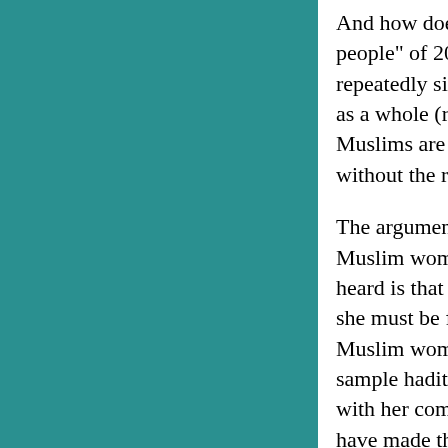And how does the American press reward such s Ali as one of 100 "most influential people" of 20 At the other end of the spectrum, the answer is e for Hirsi Ali's death repeatedly since 2002. What By making threats against her person, right-wing Islam as a whole (religion, region, culture) is we also quite ironic that these radical Muslims are g right to choose their beliefs. "Let there be no cor reason, too, because without the right to choose place.
The argument that pervades The Caged Virgin--t two assumptions. The first is that Muslim wome Said once called "the silence of the native." Hirs make my voice heard is that Muslim women are their behalf." If, as the title of this book suggests she must be freed from the outside. Someone mu out and speak for herself. But Muslim women an significant portion of hadith, the Prophet's sayin Aisha. Here is a sample hadith: "Narrated Aisha: haram.'" But how did Aisha narrate this saying? with her community and teaching the hadith to th continued, and Muslim women have made their or literature. Over the past century, they have org their rights. Even under the inhumane Taliban re